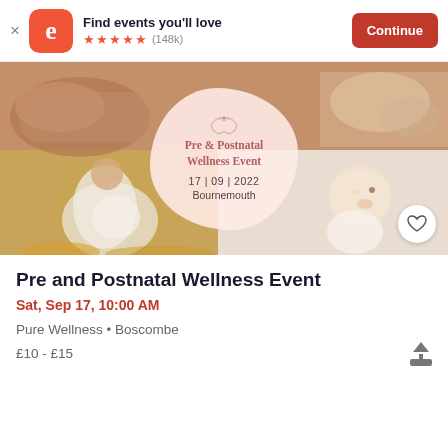Find events you'll love ★★★★★ (148k) Continue
[Figure (photo): Event banner showing a pregnant woman in a golden field on the left, a baby looking upward on the right, and hands holding a baby's feet at top. A decorative badge in the center reads: Pre & Postnatal Wellness Event, 17 | 09 | 2022, Bournemouth.]
Pre and Postnatal Wellness Event
Sat, Sep 17, 10:00 AM
Pure Wellness • Boscombe
£10 - £15